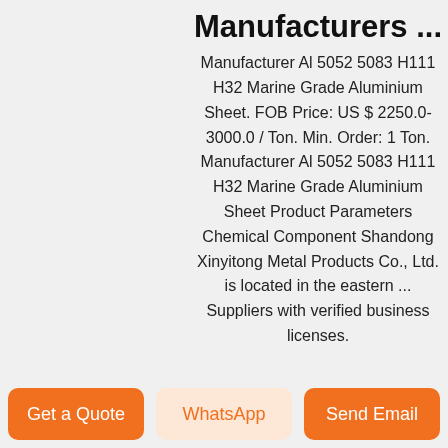Manufacturers ...
Manufacturer Al 5052 5083 H111 H32 Marine Grade Aluminium Sheet. FOB Price: US $ 2250.0-3000.0 / Ton. Min. Order: 1 Ton. Manufacturer Al 5052 5083 H111 H32 Marine Grade Aluminium Sheet Product Parameters Chemical Component Shandong Xinyitong Metal Products Co., Ltd. is located in the eastern ... Suppliers with verified business licenses.
[Figure (other): Triangle up arrow icon and TOP label for back-to-top navigation]
Contact Us
[Figure (photo): Industrial/warehouse interior photo thumbnail]
MetalsDepot® -
Get a Quote
WhatsApp
Send Email